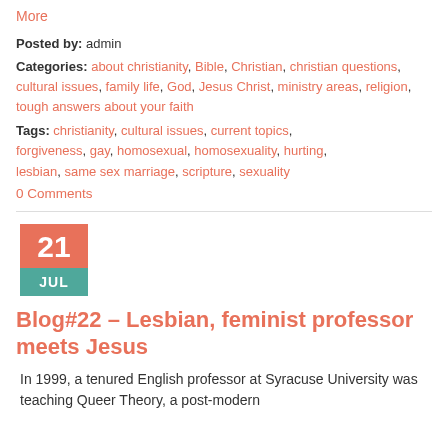More
Posted by: admin
Categories: about christianity, Bible, Christian, christian questions, cultural issues, family life, God, Jesus Christ, ministry areas, religion, tough answers about your faith
Tags: christianity, cultural issues, current topics, forgiveness, gay, homosexual, homosexuality, hurting, lesbian, same sex marriage, scripture, sexuality
0 Comments
[Figure (other): Date badge showing 21 JUL with salmon top and teal bottom]
Blog#22 – Lesbian, feminist professor meets Jesus
In 1999, a tenured English professor at Syracuse University was teaching Queer Theory, a post-modern